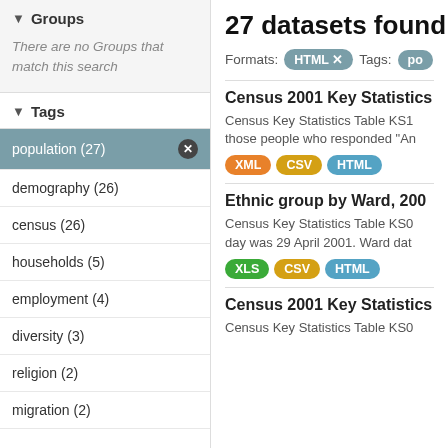▼ Groups
There are no Groups that match this search
▼ Tags
population (27)
demography (26)
census (26)
households (5)
employment (4)
diversity (3)
religion (2)
migration (2)
27 datasets found
Formats: HTML ×   Tags: po
Census 2001 Key Statistics
Census Key Statistics Table KS1 those people who responded "An
XML CSV HTML
Ethnic group by Ward, 200
Census Key Statistics Table KS0 day was 29 April 2001. Ward dat
XLS CSV HTML
Census 2001 Key Statistics
Census Key Statistics Table KS0